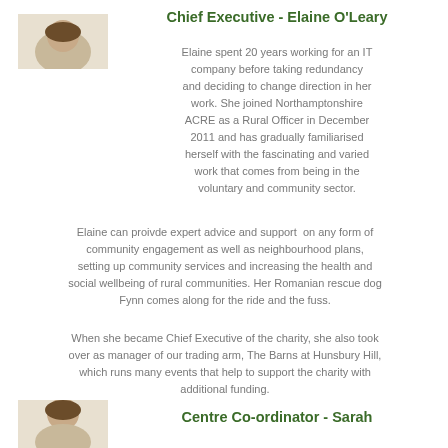[Figure (photo): Partial photo of a person, cropped at top-left, showing head/shoulders area]
Chief Executive - Elaine O'Leary
Elaine spent 20 years working for an IT company before taking redundancy and deciding to change direction in her work. She joined Northamptonshire ACRE as a Rural Officer in December 2011 and has gradually familiarised herself with the fascinating and varied work that comes from being in the voluntary and community sector.
Elaine can proivde expert advice and support on any form of community engagement as well as neighbourhood plans, setting up community services and increasing the health and social wellbeing of rural communities. Her Romanian rescue dog Fynn comes along for the ride and the fuss.
When she became Chief Executive of the charity, she also took over as manager of our trading arm, The Barns at Hunsbury Hill, which runs many events that help to support the charity with additional funding.
[Figure (photo): Partial photo of a person, cropped at bottom-left, showing head/shoulders area]
Centre Co-ordinator - Sarah